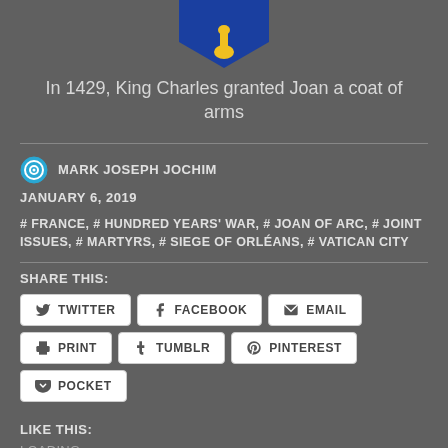[Figure (illustration): Partial view of a blue heraldic shield with a gold/yellow bell or mace shape at the bottom center, cropped at the top of the page]
In 1429, King Charles granted Joan a coat of arms
MARK JOSEPH JOCHIM
JANUARY 6, 2019
# FRANCE, # HUNDRED YEARS' WAR, # JOAN OF ARC, # JOINT ISSUES, # MARTYRS, # SIEGE OF ORLÉANS, # VATICAN CITY
SHARE THIS:
TWITTER
FACEBOOK
EMAIL
PRINT
TUMBLR
PINTEREST
POCKET
LIKE THIS:
LOADING...